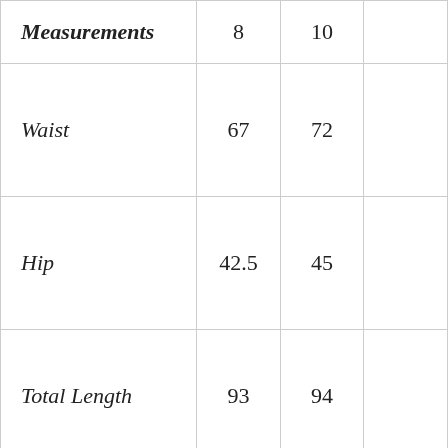| Measurements | 8 | 10 |  |
| --- | --- | --- | --- |
| Waist | 67 | 72 |  |
| Hip | 42.5 | 45 |  |
| Total Length | 93 | 94 |  |